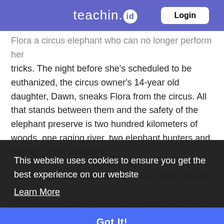teachin.id  Login
…Flora a circus elephant who can no longer perform her tricks. The night before she's scheduled to be euthanized, the circus owner's 14-year old daughter, Dawn, sneaks Flora from the circus. All that stands between them and the safety of the elephant preserve is two hundred kilometers of woods, one raging river, two elephant hunters and the fear of not making it.
BEST!~EXPRES*Movies.4K-How to watch Saving Flora FULL Movie Online Free? HQ Reddit [DVD, ENGISH]
This website uses cookies to ensure you get the best experience on our website
Learn More
Got It!
2019 Full Movies Free HD !! Saving Flora (2019) with